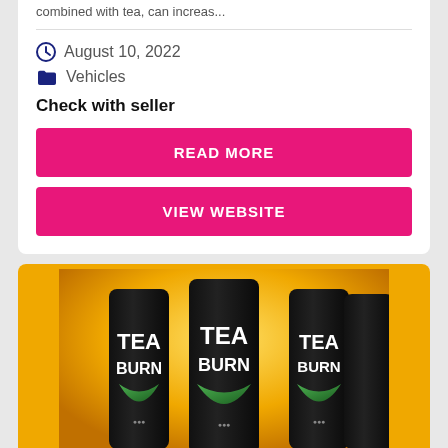combined with tea, can increas...
August 10, 2022
Vehicles
Check with seller
READ MORE
VIEW WEBSITE
[Figure (photo): Product photo showing multiple 'Tea Burn' supplement bottles against a yellow/orange background]